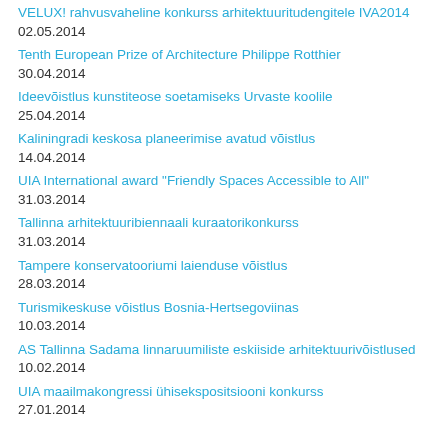VELUX! rahvusvaheline konkurss arhitektuuritudengitele IVA2014
02.05.2014
Tenth European Prize of Architecture Philippe Rotthier
30.04.2014
Ideevõistlus kunstiteose soetamiseks Urvaste koolile
25.04.2014
Kaliningradi keskosa planeerimise avatud võistlus
14.04.2014
UIA International award "Friendly Spaces Accessible to All"
31.03.2014
Tallinna arhitektuuribiennaali kuraatorikonkurss
31.03.2014
Tampere konservatooriumi laienduse võistlus
28.03.2014
Turismikeskuse võistlus Bosnia-Hertsegoviinas
10.03.2014
AS Tallinna Sadama linnaruumiliste eskiiside arhitektuurivõistlused
10.02.2014
UIA maailmakongressi ühisekspositsiooni konkurss
27.01.2014